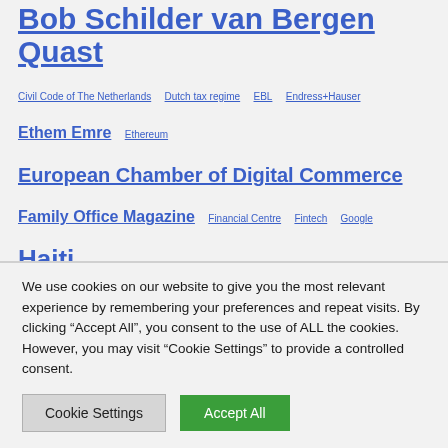Bob Schilder van Bergen Quast
Civil Code of The Netherlands   Dutch tax regime   EBL   Endress+Hauser
Ethem Emre   Ethereum
European Chamber of Digital Commerce
Family Office Magazine   Financial Centre   Fintech   Google   Haiti
Handbook for investors   IBM   IBM Blockchain   innovation
international asset protection   Investment climate
Jan Peter de Jong   Johann Schneider-Ammann   Kazakhstan
Ludwig von Mises School of Economics   Mathias Altendorf
We use cookies on our website to give you the most relevant experience by remembering your preferences and repeat visits. By clicking “Accept All”, you consent to the use of ALL the cookies. However, you may visit "Cookie Settings" to provide a controlled consent.